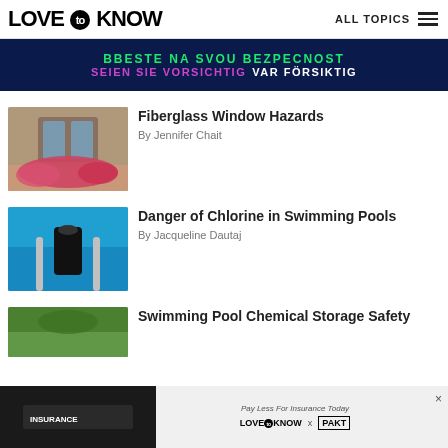LOVE to KNOW  ALL TOPICS
[Figure (photo): Dark blue advertisement banner with multilingual safety warning text in green and purple/pink]
[Figure (photo): Thumbnail of a window with flower box and pink/red flowers]
Fiberglass Window Hazards
By Jennifer Chait
[Figure (photo): Thumbnail of a person in black swimsuit and hat climbing pool ladder in blue swimming pool]
Danger of Chlorine in Swimming Pools
By Jacqueline Dautaj
[Figure (photo): Partial thumbnail of pool area with greenery]
Swimming Pool Chemical Storage Safety
[Figure (photo): Bottom advertisement banner: Pay Less For Insurance Today — LoveToKnow x PAKT]